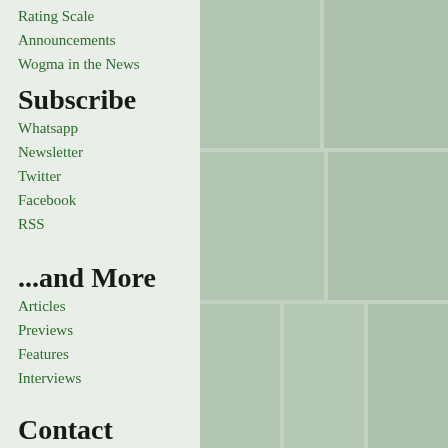[Figure (photo): Collage of Bollywood movie posters as background image, muted with green/teal overlay]
Rating Scale
Announcements
Wogma in the News
Subscribe
Whatsapp
Newsletter
Twitter
Facebook
RSS
...and More
Articles
Previews
Features
Interviews
Contact
WhatsApp
E-Mail
Twitter
Facebook